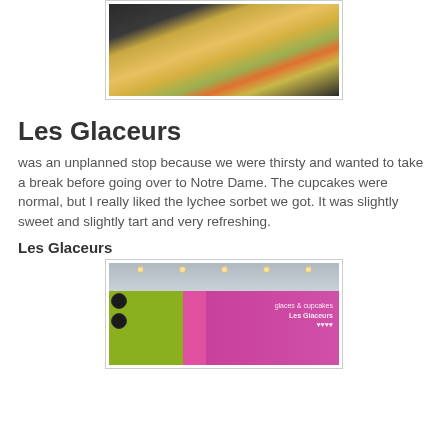[Figure (photo): Photo of a crepe or flatbread dish with cheese and toppings on a white plate, dark background]
Les Glaceurs
was an unplanned stop because we were thirsty and wanted to take a break before going over to Notre Dame. The cupcakes were normal, but I really liked the lychee sorbet we got. It was slightly sweet and slightly tart and very refreshing.
Les Glaceurs
[Figure (photo): Interior photo of Les Glaceurs shop with green and magenta/pink walls, ceiling lights, and the Les Glaceurs sign]